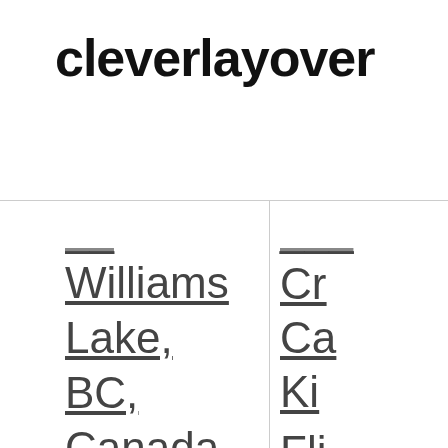cleverlayover
Williams Lake, BC, Canada (YWL)
Flights to Saskatoon, SK, Canada (YXE)
Cr... Ca... Ki... (partially visible)
Fli... Me... (partially visible)